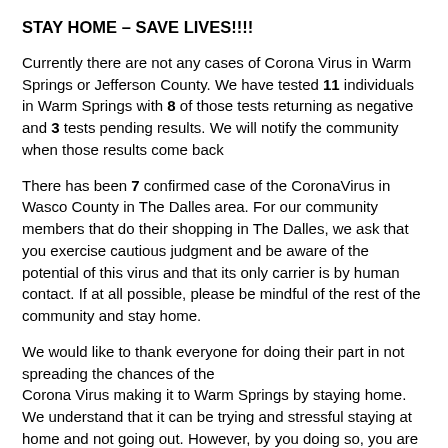STAY HOME – SAVE LIVES!!!!
Currently there are not any cases of Corona Virus in Warm Springs or Jefferson County.  We have tested 11 individuals in Warm Springs with 8 of those tests returning as negative and 3 tests pending results.  We will notify the community when those results come back
There has been 7 confirmed case of the CoronaVirus in Wasco County in The Dalles area.  For our community members that do their shopping in The Dalles, we ask that you exercise cautious judgment and be aware of the potential of this virus and that its only carrier is by human contact.  If at all possible, please be mindful of the rest of the community and stay home.
We would like to thank everyone for doing their part in not spreading the chances of the Corona Virus making it to Warm Springs by staying home.  We understand that it can be trying and stressful staying at home and not going out.  However, by you doing so, you are doing a great deed in helping keep your community safe.  Each of us